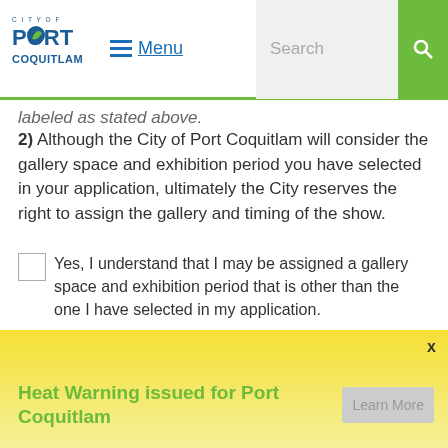City of Port Coquitlam — Menu / Search navigation bar
labeled as stated above.
2) Although the City of Port Coquitlam will consider the gallery space and exhibition period you have selected in your application, ultimately the City reserves the right to assign the gallery and timing of the show.
Yes, I understand that I may be assigned a gallery space and exhibition period that is other than the one I have selected in my application.
I do not want to be considered should the gallery space and exhibition period be other than the one I have selected in my application.
Although the City of Port Coquitlam will consider each application as a solo exhibition, we may suggest pairing
Heat Warning issued for Port Coquitlam    Learn More